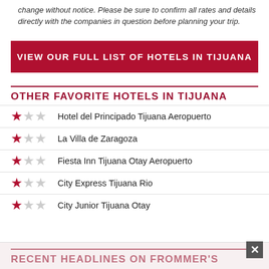change without notice. Please be sure to confirm all rates and details directly with the companies in question before planning your trip.
VIEW OUR FULL LIST OF HOTELS IN TIJUANA
OTHER FAVORITE HOTELS IN TIJUANA
Hotel del Principado Tijuana Aeropuerto
La Villa de Zaragoza
Fiesta Inn Tijuana Otay Aeropuerto
City Express Tijuana Rio
City Junior Tijuana Otay
RECENT HEADLINES ON FROMMER'S